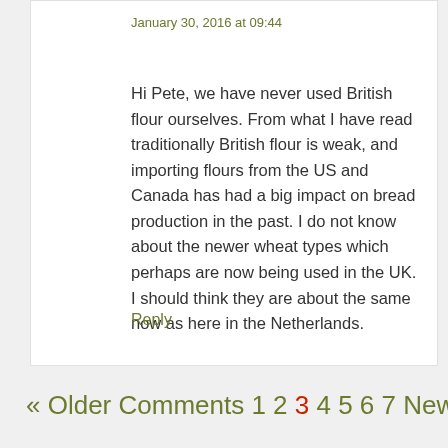January 30, 2016 at 09:44
Hi Pete, we have never used British flour ourselves. From what I have read traditionally British flour is weak, and importing flours from the US and Canada has had a big impact on bread production in the past. I do not know about the newer wheat types which perhaps are now being used in the UK. I should think they are about the same now as here in the Netherlands.
Reply
« Older Comments 1 2 3 4 5 6 7 Newer